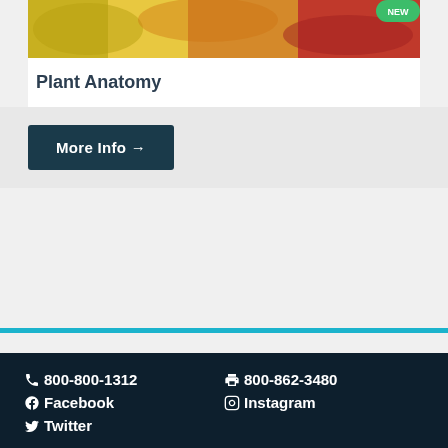[Figure (photo): Colorful autumn leaves photo with yellow, orange and red leaves, partially visible at top of card]
Plant Anatomy
More Info →
📞800-800-1312  🖨800-862-3480  Facebook  Instagram  Twitter